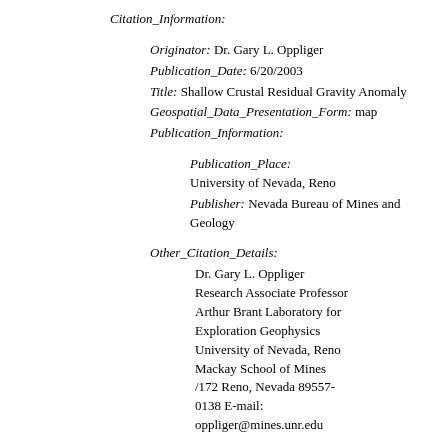Citation_Information:
Originator: Dr. Gary L. Oppliger
Publication_Date: 6/20/2003
Title: Shallow Crustal Residual Gravity Anomaly
Geospatial_Data_Presentation_Form: map
Publication_Information:
Publication_Place: University of Nevada, Reno
Publisher: Nevada Bureau of Mines and Geology
Other_Citation_Details:
Dr. Gary L. Oppliger
Research Associate Professor
Arthur Brant Laboratory for Exploration Geophysics
University of Nevada, Reno
Mackay School of Mines
/172 Reno, Nevada 89557-0138 E-mail:
oppliger@mines.unr.edu